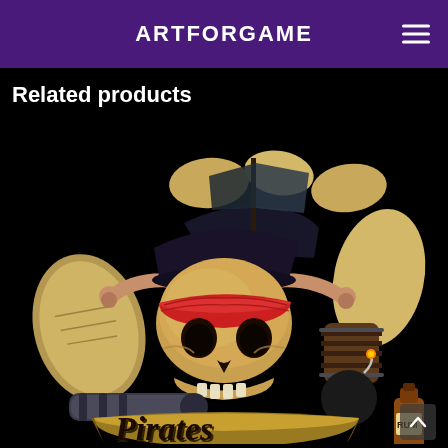ARTFORGAME
Related products
[Figure (illustration): Pirate-themed game art illustration featuring a golden skull wearing a red bandana and pirate hat with crossbones, surrounded by treasure maps, a cannon, a barrel, a cannonball with fuse, a rum bottle, and the word 'Pirates' on a golden banner. Dark/black background.]